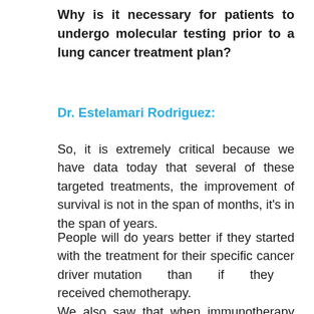Why is it necessary for patients to undergo molecular testing prior to a lung cancer treatment plan?
Dr. Estelamari Rodriguez:
So, it is extremely critical because we have data today that several of these targeted treatments, the improvement of survival is not in the span of months, it’s in the span of years.
People will do years better if they started with the treatment for their specific cancer driver mutation than if they received chemotherapy.
We also saw that when immunotherapy came